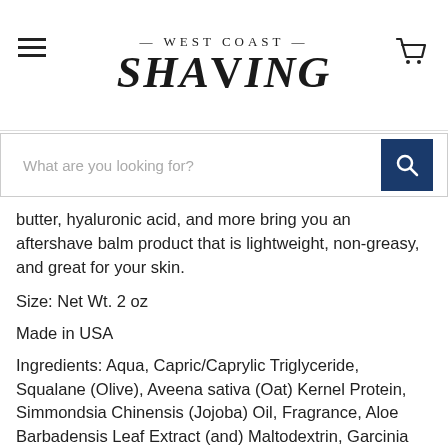— WEST COAST — SHAVING
butter, hyaluronic acid, and more bring you an aftershave balm product that is lightweight, non-greasy, and great for your skin.
Size: Net Wt. 2 oz
Made in USA
Ingredients: Aqua, Capric/Caprylic Triglyceride, Squalane (Olive), Aveena sativa (Oat) Kernel Protein, Simmondsia Chinensis (Jojoba) Oil, Fragrance, Aloe Barbadensis Leaf Extract (and) Maltodextrin, Garcinia indica (Kokum) Butter, Hydroxypropyl Starch Phosphate, Polysorbate 80, Raphanus Sativus (Radish) Seed Extract, Sodium Stearoyl Glutamate, Allantoin, Gluconodeltalactone (and) Sodium Benzoate,